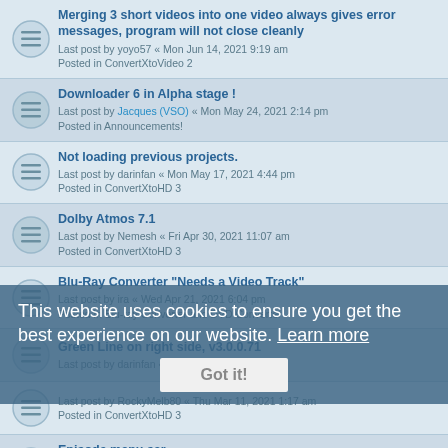Merging 3 short videos into one video always gives error messages, program will not close cleanly
Last post by yoyo57 « Mon Jun 14, 2021 9:19 am
Posted in ConvertXtoVideo 2
Downloader 6 in Alpha stage !
Last post by Jacques (VSO) « Mon May 24, 2021 2:14 pm
Posted in Announcements!
Not loading previous projects.
Last post by darinfan « Mon May 17, 2021 4:44 pm
Posted in ConvertXtoHD 3
Dolby Atmos 7.1
Last post by Nemesh « Fri Apr 30, 2021 11:07 am
Posted in ConvertXtoHD 3
Blu-Ray Converter "Needs a Video Track"
Last post by ira « Wed Apr 21, 2021 6:04 pm
Posted in Blu-ray Converter and DVD Converter
Green Line on right side, v3.0.0.71
Last post by darinfan « Thu Apr 08, 2021 4:07 pm
Last post by RockyMelb80 « Thu Mar 11, 2021 1:17 am
Posted in ConvertXtoHD 3
Episode menu scr...
Last post by ichido « Sun Feb 21, 2021 8:28 pm
Posted in ConvertXtoDVD 7
Successful Conversion and Burn
This website uses cookies to ensure you get the best experience on our website. Learn more
Got it!